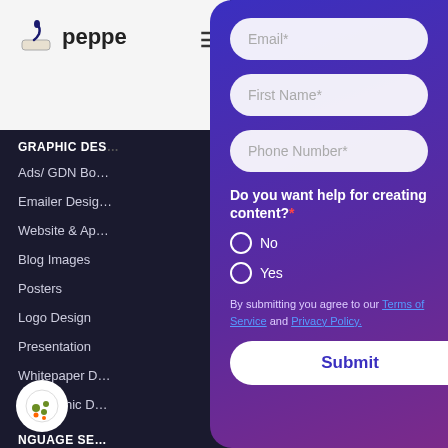[Figure (screenshot): Website navigation sidebar showing Peppertype logo, GRAPHIC DESIGN section with menu items: Ads/GDN Banner, Emailer Design, Website & App, Blog Images, Posters, Logo Design, Presentation, Whitepaper Design, All Graphic Design, and LANGUAGE SERVICES section with Blog Translation]
[Figure (screenshot): Modal popup form with gradient blue-purple background containing Email, First Name, Phone Number input fields, a radio button question asking if user wants help creating content with No/Yes options, terms of service disclaimer, and a Submit button]